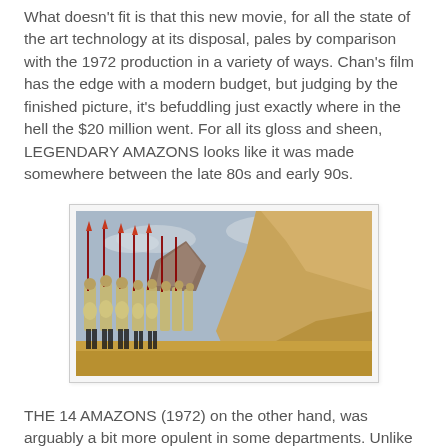What doesn't fit is that this new movie, for all the state of the art technology at its disposal, pales by comparison with the 1972 production in a variety of ways. Chan's film has the edge with a modern budget, but judging by the finished picture, it's befuddling just exactly where in the hell the $20 million went. For all its gloss and sheen, LEGENDARY AMAZONS looks like it was made somewhere between the late 80s and early 90s.
[Figure (photo): A scene from a historical war film showing soldiers in ancient Chinese armor carrying spears and shields, marching in formation beside a large sandy cliff or hill under a blue cloudy sky.]
THE 14 AMAZONS (1972) on the other hand, was arguably a bit more opulent in some departments. Unlike other studios in HK at that time, the Shaw's